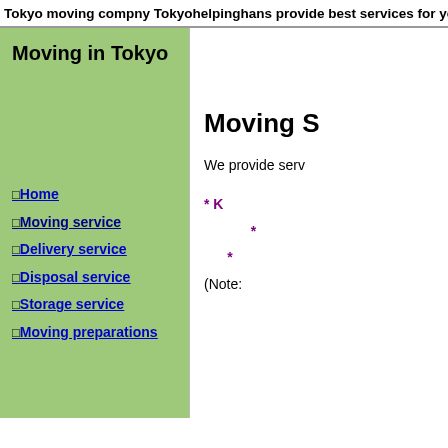Tokyo moving compny Tokyohelpinghans provide best services for you!
Moving in Tokyo
Home
Moving service
Delivery service
Disposal service
Storage service
Moving preparations
Moving S
We provide serv
* K
*
*
(Note: